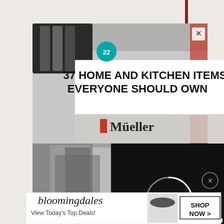[Figure (screenshot): Screenshot of a webpage showing overlapping ad banners. Top ad: product image of Mueller knife sharpener with text '37 HOME AND KITCHEN ITEMS EVERYONE SHOULD OWN' and a teal badge with '22'. Below is a black and white photo of a woman in a vest. A black overlay panel with a loading spinner (open circle) appears on the right side. A close button labeled 'CLOSE' appears at bottom right. Bottom ad: Bloomingdale's banner 'View Today's Top Deals!' with model in hat and 'SHOP NOW >' button.]